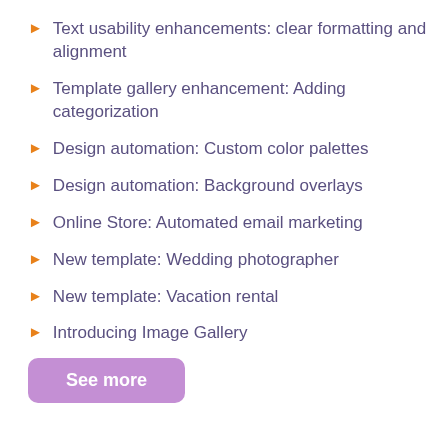Text usability enhancements: clear formatting and alignment
Template gallery enhancement: Adding categorization
Design automation: Custom color palettes
Design automation: Background overlays
Online Store: Automated email marketing
New template: Wedding photographer
New template: Vacation rental
Introducing Image Gallery
See more